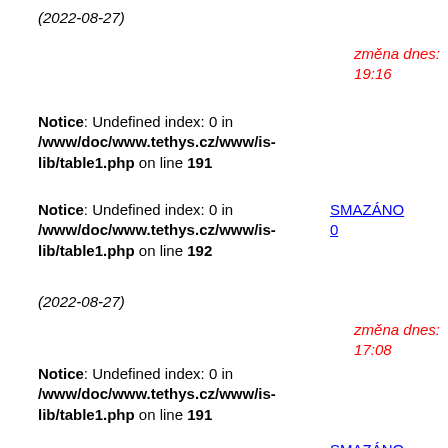(2022-08-27)
změna dnes: 19:16
Notice: Undefined index: 0 in /www/doc/www.tethys.cz/www/is-lib/table1.php on line 191
SMAZÁNO
0
Notice: Undefined index: 0 in /www/doc/www.tethys.cz/www/is-lib/table1.php on line 192
(2022-08-27)
změna dnes: 17:08
Notice: Undefined index: 0 in /www/doc/www.tethys.cz/www/is-lib/table1.php on line 191
SMAZÁNO
0
Notice: Undefined index: 0 in /www/doc/www.tethys.cz/www/is-lib/table1.php on line 192
(2022-08-27)
změna dnes: 15:04